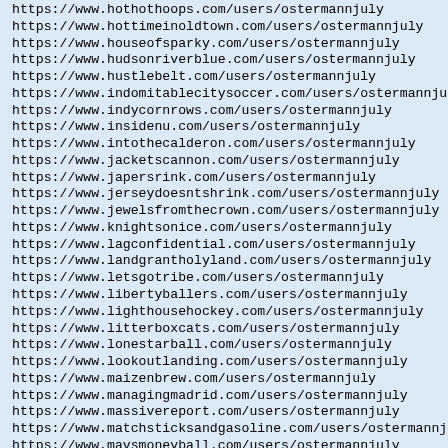https://www.hothothoops.com/users/ostermannjuly
https://www.hottimeinoldtown.com/users/ostermannjuly
https://www.houseofsparky.com/users/ostermannjuly
https://www.hudsonriverblue.com/users/ostermannjuly
https://www.hustlebelt.com/users/ostermannjuly
https://www.indomitablecitysoccer.com/users/ostermannjuly
https://www.indycornrows.com/users/ostermannjuly
https://www.insidenu.com/users/ostermannjuly
https://www.intothecalderon.com/users/ostermannjuly
https://www.jacketscannon.com/users/ostermannjuly
https://www.japersrink.com/users/ostermannjuly
https://www.jerseydoesntshrink.com/users/ostermannjuly
https://www.jewelsfromthecrown.com/users/ostermannjuly
https://www.knightsonice.com/users/ostermannjuly
https://www.lagconfidential.com/users/ostermannjuly
https://www.landgrantholyland.com/users/ostermannjuly
https://www.letsgotribe.com/users/ostermannjuly
https://www.libertyballers.com/users/ostermannjuly
https://www.lighthousehockey.com/users/ostermannjuly
https://www.litterboxcats.com/users/ostermannjuly
https://www.lonestarball.com/users/ostermannjuly
https://www.lookoutlanding.com/users/ostermannjuly
https://www.maizenbrew.com/users/ostermannjuly
https://www.managingmadrid.com/users/ostermannjuly
https://www.massivereport.com/users/ostermannjuly
https://www.matchsticksandgasoline.com/users/ostermannjuly
https://www.mavsmoneyball.com/users/ostermannjuly
https://www.mccoveychronicles.com/users/ostermannjuly
https://www.midmajormadness.com/users/ostermannjuly